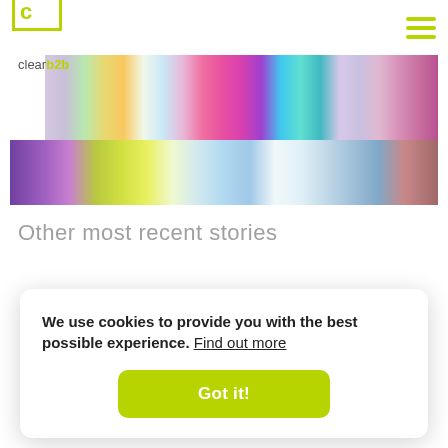clearb2b
[Figure (photo): Colorful ribbons or sheets of material fanned out, showing a spectrum of vivid colors including pink, magenta, teal, green, yellow and purple]
Other most recent stories
[Figure (photo): Partial view of a white product (appears to be footwear/sandal) at the bottom of the page]
We use cookies to provide you with the best possible experience.  Find out more
Got it!